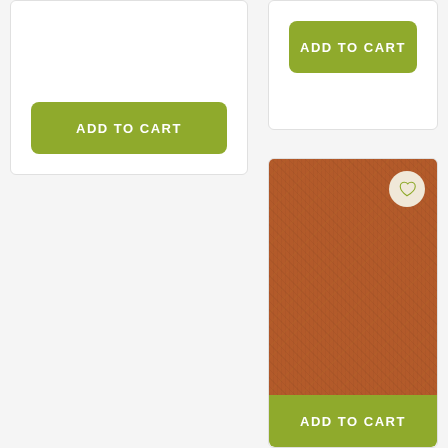ADD TO CART
ADD TO CART
[Figure (photo): Burnt orange linen fabric texture swatch for product Diola 75151528]
Diola | 75151528 Burnt Orange
$396.00
ADD TO CART